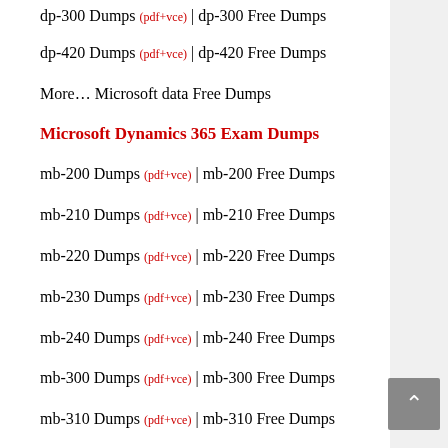dp-300 Dumps (pdf+vce) | dp-300 Free Dumps
dp-420 Dumps (pdf+vce) | dp-420 Free Dumps
More… Microsoft data Free Dumps
Microsoft Dynamics 365 Exam Dumps
mb-200 Dumps (pdf+vce) | mb-200 Free Dumps
mb-210 Dumps (pdf+vce) | mb-210 Free Dumps
mb-220 Dumps (pdf+vce) | mb-220 Free Dumps
mb-230 Dumps (pdf+vce) | mb-230 Free Dumps
mb-240 Dumps (pdf+vce) | mb-240 Free Dumps
mb-300 Dumps (pdf+vce) | mb-300 Free Dumps
mb-310 Dumps (pdf+vce) | mb-310 Free Dumps
mb-320 Dumps (pdf+vce) | mb-320 Free Dumps
mb-330 Dumps (pdf+vce) | mb-330 Free Dumps